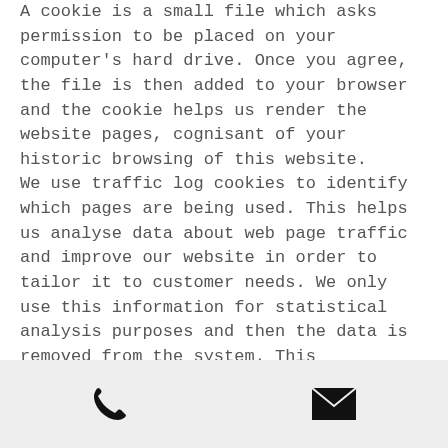A cookie is a small file which asks permission to be placed on your computer's hard drive. Once you agree, the file is then added to your browser and the cookie helps us render the website pages, cognisant of your historic browsing of this website. We use traffic log cookies to identify which pages are being used. This helps us analyse data about web page traffic and improve our website in order to tailor it to customer needs. We only use this information for statistical analysis purposes and then the data is removed from the system. This information is only used in its aggregate form – i.e. you are not personally identifiable or identified.

Overall, cookies help us provide you with a better website, by enabling us to